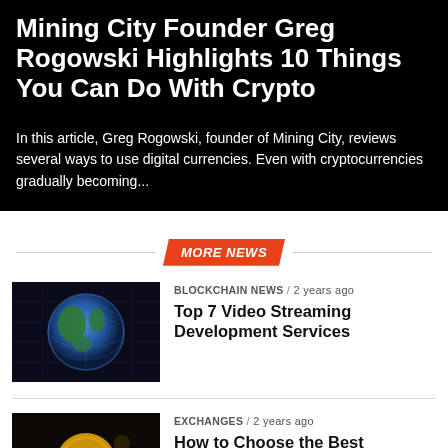Mining City Founder Greg Rogowski Highlights 10 Things You Can Do With Crypto
In this article, Greg Rogowski, founder of Mining City, reviews several ways to use digital currencies. Even with cryptocurrencies gradually becoming...
MORE NEWS
[Figure (photo): Globe/Earth viewed from space with digital grid overlay, dark background]
BLOCKCHAIN NEWS / 2 years ago
Top 7 Video Streaming Development Services
[Figure (photo): Gold Bitcoin coin on dark background with coins scattered around]
EXCHANGES / 2 years ago
How to Choose the Best Exchanges and Brokers to Buy Bitcoin
[Figure (photo): Dark image with cash/money visible, partially cropped]
BITCOIN BEGINNERS / 2 years ago
3 Reasons Why People Should Prefer Holding
Share This